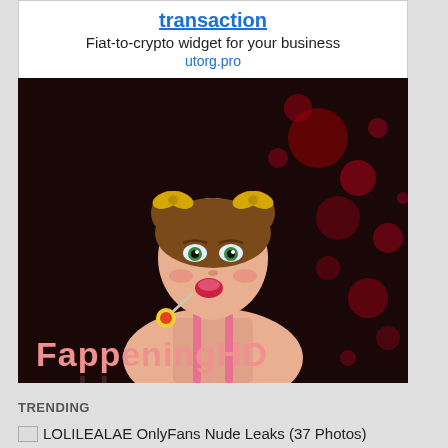transaction
Fiat-to-crypto widget for your business
utorg.pro
[Figure (illustration): Illustrated anime-style woman with twin buns hairstyle and yellow bows, holding a lollipop, wearing a pink top, against a dark background with red bokeh splashes. Text 'FappeningHD' at the bottom in pink letters.]
TRENDING
LOLILEALAE OnlyFans Nude Leaks (37 Photos)
LOLILEALAE OnlyFans Nude Leaks (37 Photos)